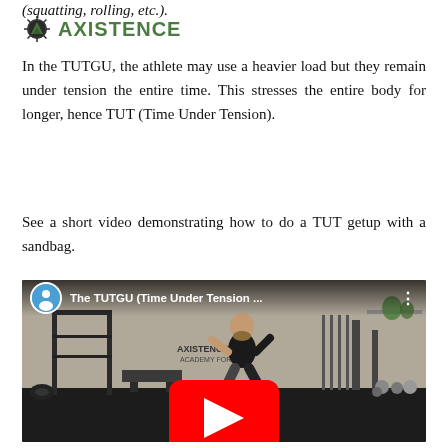[Figure (logo): Axistence logo with sun/mountain icon and green text]
In the TUTGU, the athlete may use a heavier load but they remain under tension the entire time. This stresses the entire body for longer, hence TUT (Time Under Tension).
See a short video demonstrating how to do a TUT getup with a sandbag.
[Figure (screenshot): YouTube video thumbnail showing 'The TUTGU (Time Under Tension ...' with a man in a gym performing an exercise, Axistence Athletics gym in background, red YouTube play button overlay]